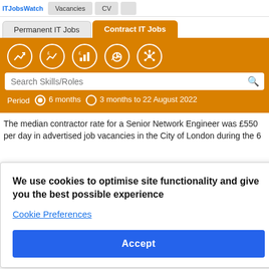ITJobsWatch | Vacancies | CV
Permanent IT Jobs | Contract IT Jobs
[Figure (screenshot): Orange navigation bar with 5 icon buttons: line chart with arrow, line chart with currency, bar chart, pie chart, network/hub icon]
Search Skills/Roles
Period  6 months  3 months to 22 August 2022
The median contractor rate for a Senior Network Engineer was £550 per day in advertised job vacancies in the City of London during the 6 months to 22 August 2022.
We use cookies to optimise site functionality and give you the best possible experience
Cookie Preferences
Accept